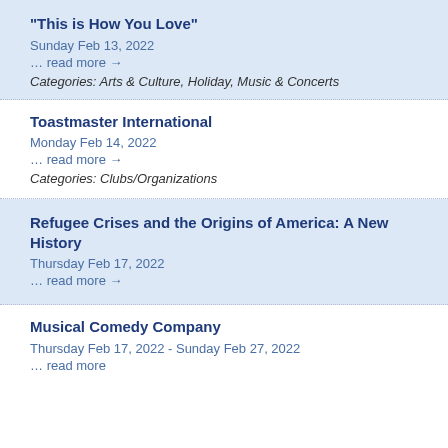"This is How You Love"
Sunday Feb 13, 2022
… read more →
Categories: Arts & Culture, Holiday, Music & Concerts
Toastmaster International
Monday Feb 14, 2022
… read more →
Categories: Clubs/Organizations
Refugee Crises and the Origins of America: A New History
Thursday Feb 17, 2022
… read more →
Musical Comedy Company
Thursday Feb 17, 2022 - Sunday Feb 27, 2022
… read more